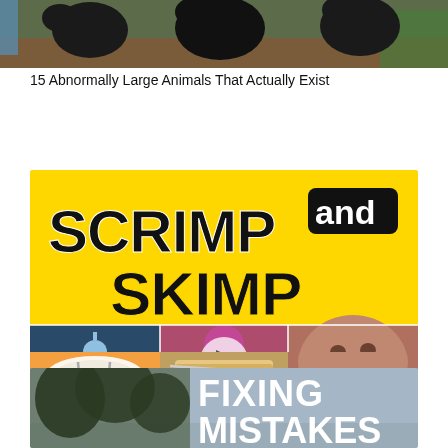[Figure (photo): Top strip showing large black birds (chickens or turkeys) on grass/dirt, partially cropped]
15 Abnormally Large Animals That Actually Exist
[Figure (infographic): Yellow banner with large bold text 'SCRIMP and SKIMP', below are 6 photo thumbnails: dripping water tap, legs in dress with flower, bearded man face, empty plate with utensils, bread with butter knife, and center has a play button overlay]
▷ Skimp and Scrimp - Skimp Meaning - Scrimp Examples - Skimpy - Scrimp and Save
[Figure (photo): Bottom image showing trees on left side and text 'FIXING MISTAKES' on gray background, partially cropped]